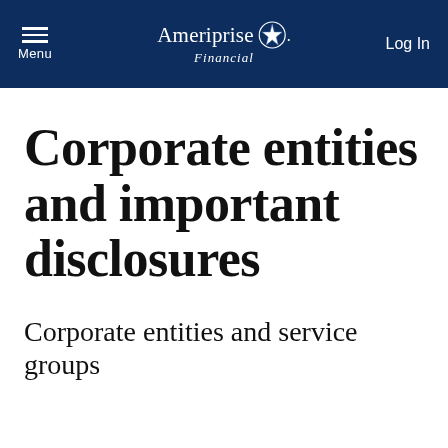Menu | Ameriprise Financial | Log In
Corporate entities and important disclosures
Corporate entities and service groups